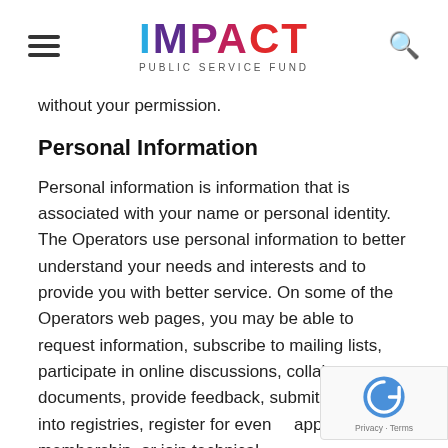IMPACT PUBLIC SERVICE FUND
without your permission.
Personal Information
Personal information is information that is associated with your name or personal identity. The Operators use personal information to better understand your needs and interests and to provide you with better service. On some of the Operators web pages, you may be able to request information, subscribe to mailing lists, participate in online discussions, collaborate on documents, provide feedback, submit information into registries, register for events, apply for membership, or join technical